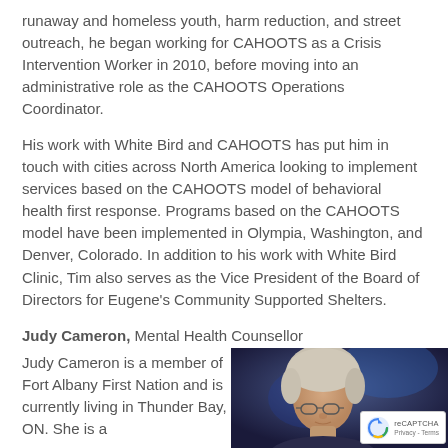runaway and homeless youth, harm reduction, and street outreach, he began working for CAHOOTS as a Crisis Intervention Worker in 2010, before moving into an administrative role as the CAHOOTS Operations Coordinator.
His work with White Bird and CAHOOTS has put him in touch with cities across North America looking to implement services based on the CAHOOTS model of behavioral health first response. Programs based on the CAHOOTS model have been implemented in Olympia, Washington, and Denver, Colorado. In addition to his work with White Bird Clinic, Tim also serves as the Vice President of the Board of Directors for Eugene's Community Supported Shelters.
Judy Cameron, Mental Health Counsellor
Judy Cameron is a member of Fort Albany First Nation and is currently living in Thunder Bay, ON. She is a
[Figure (photo): Photograph of Judy Cameron, a woman with short light-colored hair wearing glasses, shown from the shoulders up, photographed in what appears to be a dimly lit venue with blue lighting in the background.]